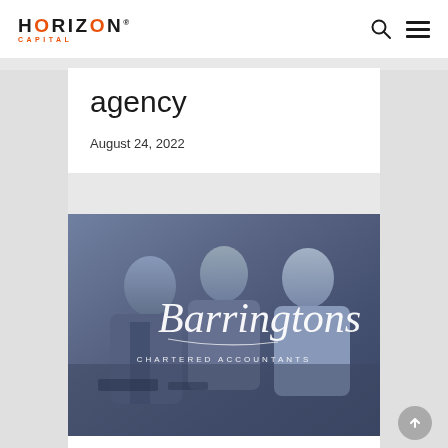HORIZON CAPITAL
agency
August 24, 2022
[Figure (photo): Business professionals in a meeting with Barringtons Chartered Accountants logo overlay on a blue-tinted background]